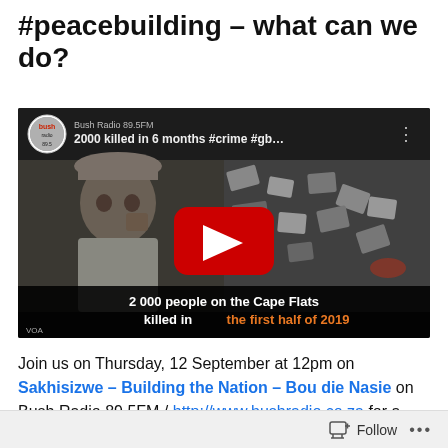#peacebuilding – what can we do?
[Figure (screenshot): YouTube video thumbnail showing 'Bush Radio 89.5FM' channel. Title reads '2000 killed in 6 months #crime #gb…'. The thumbnail shows a man on the left and scattered items on the right. Center has a large red YouTube play button. Bottom caption reads '2 000 people on the Cape Flats killed in the first half of 2019'. VOA watermark visible.]
Join us on Thursday, 12 September at 12pm on Sakhisizwe – Building the Nation – Bou die Nasie on Bush Radio 89.5FM / http://www.bushradio.co.za for a